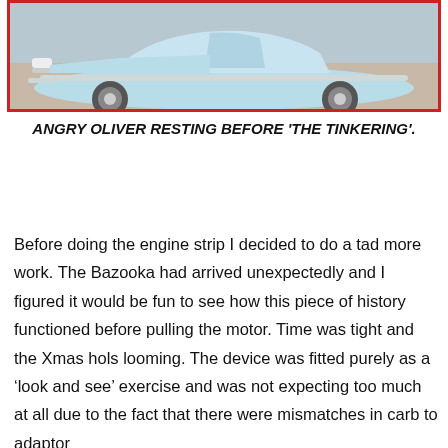[Figure (photo): A light blue/mint classic car photographed from the front-side angle, resting on a gravel or dirt surface. The car has chrome wheels and a sleek vintage body style. The image has a red border/frame around it.]
ANGRY OLIVER RESTING BEFORE 'THE TINKERING'.
Before doing the engine strip I decided to do a tad more work. The Bazooka had arrived unexpectedly and I figured it would be fun to see how this piece of history functioned before pulling the motor. Time was tight and the Xmas hols looming. The device was fitted purely as a ‘look and see’ exercise and was not expecting too much at all due to the fact that there were mismatches in carb to adaptor